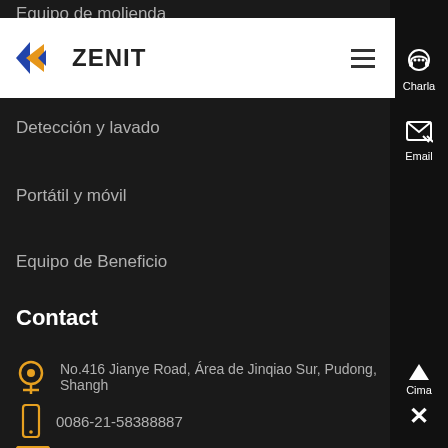[Figure (screenshot): Mobile website screenshot for Zenit mining equipment company showing navigation menu and contact information on dark background]
Equipo de molienda
[Figure (logo): Zenit logo with blue and orange arrow shapes and ZENIT text]
Detección y lavado
Portátil y móvil
Equipo de Beneficio
Contact
No.416 Jianye Road, Área de Jinqiao Sur, Pudong, Shanghai
0086-21-58388887
price@pejaw.com